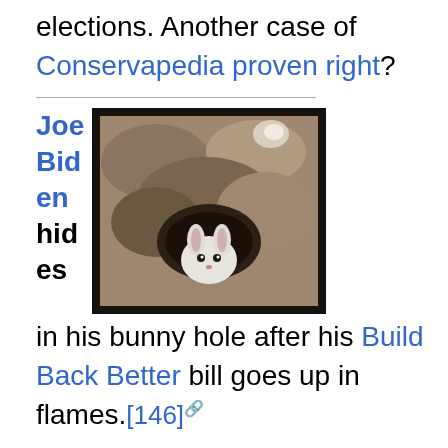elections. Another case of Conservapedia proven right?
[Figure (photo): A framed photograph showing a rabbit or bunny in a burrow/hole in the ground, viewed from above. The image has a dark frame against a sandy/earthy background.]
Joe Biden hides in his bunny hole after his Build Back Better bill goes up in flames.[146]
Biden did not engage with reporters shouting questions about the death of his Build Back Better